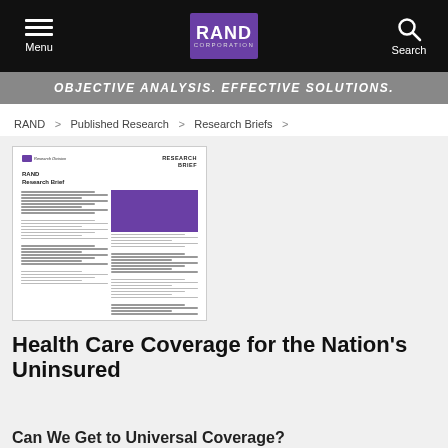Menu | RAND CORPORATION | Search
OBJECTIVE ANALYSIS. EFFECTIVE SOLUTIONS.
RAND > Published Research > Research Briefs >
[Figure (illustration): Thumbnail preview of a RAND Research Brief document cover page showing the RAND logo, 'RESEARCH BRIEF' heading, body text columns, and a purple highlighted box.]
Health Care Coverage for the Nation's Uninsured
Can We Get to Universal Coverage?